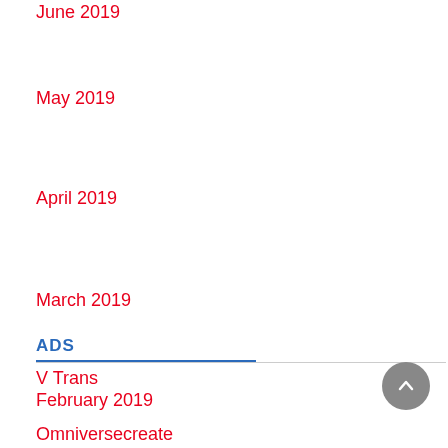June 2019
May 2019
April 2019
March 2019
February 2019
ADS
V Trans
Omniversecreate